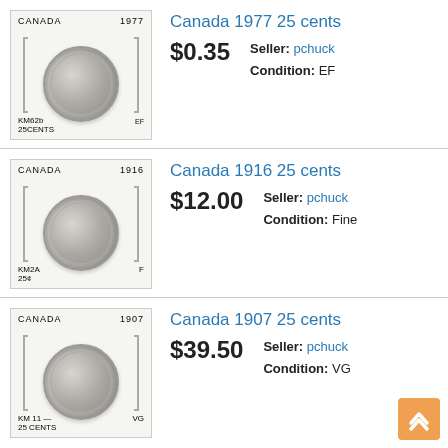[Figure (photo): Canadian 1977 25 cents coin in holder labeled CANADA 1977, KM62b 25CENTS, EF]
Canada 1977 25 cents
$0.35
Seller: pchuck  Condition: EF
[Figure (photo): Canadian 1916 25 cents coin in holder labeled CANADA 1916, KM2A 25¢, F]
Canada 1916 25 cents
$12.00
Seller: pchuck  Condition: Fine
[Figure (photo): Canadian 1907 25 cents coin in holder labeled CANADA 1907, KM11 25 CENTS, VG]
Canada 1907 25 cents
$39.50
Seller: pchuck  Condition: VG